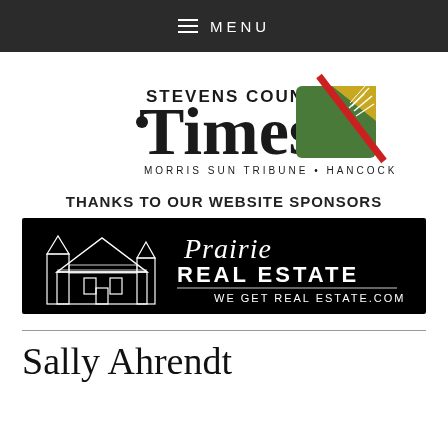≡ MENU
[Figure (logo): Stevens County Times logo with 'MORRIS SUN TRIBUNE • HANCOCK RECORD' subtitle and a geometric green/gold/red graphic element]
THANKS TO OUR WEBSITE SPONSORS
[Figure (illustration): Prairie Real Estate advertisement banner on black background with Victorian house illustration and text 'Prairie Real Estate — We Get Real Estate.com']
Sally Ahrendt